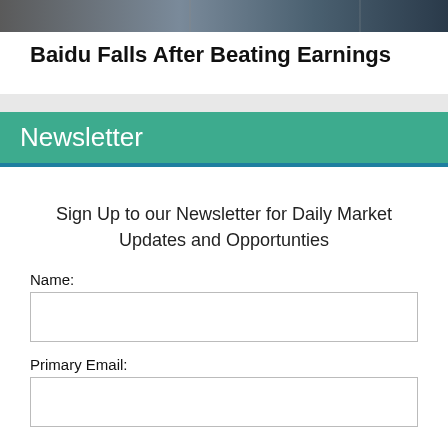[Figure (photo): Partial photo strip at top of page showing building interior or exterior scene in muted blue-gray tones]
Baidu Falls After Beating Earnings
Newsletter
Sign Up to our Newsletter for Daily Market Updates and Opportunties
Name:
Primary Email: